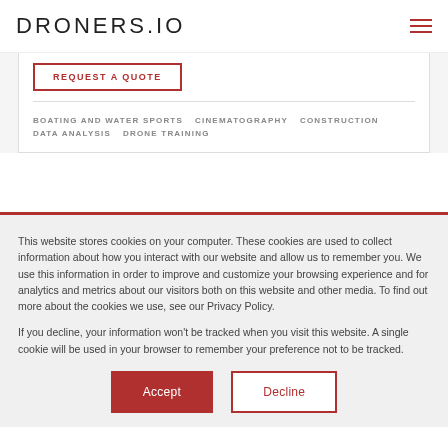DRONERS.IO
REQUEST A QUOTE
BOATING AND WATER SPORTS   CINEMATOGRAPHY   CONSTRUCTION   DATA ANALYSIS   DRONE TRAINING
This website stores cookies on your computer. These cookies are used to collect information about how you interact with our website and allow us to remember you. We use this information in order to improve and customize your browsing experience and for analytics and metrics about our visitors both on this website and other media. To find out more about the cookies we use, see our Privacy Policy.

If you decline, your information won't be tracked when you visit this website. A single cookie will be used in your browser to remember your preference not to be tracked.
Accept
Decline